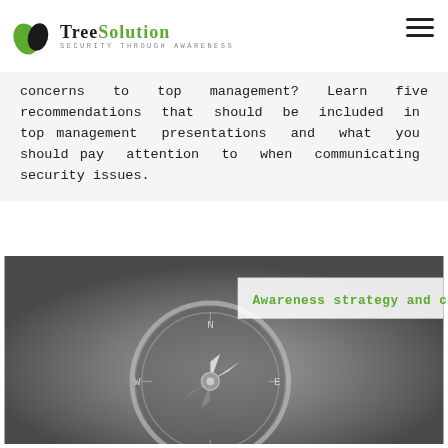TreeSolution — Security Through Awareness
concerns to top management? Learn five recommendations that should be included in top management presentations and what you should pay attention to when communicating security issues.
[Figure (photo): Grayscale photo of a compass with overlay label 'Awareness strategy and concept' in green text on white background.]